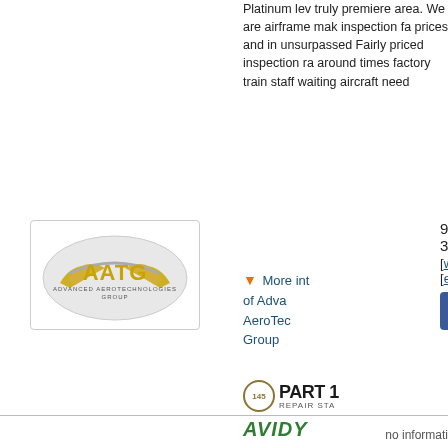[Figure (logo): Advanced AeroTechnologies Group logo — gold/silver eagle wings with AATG letters]
970-373-3295
[web site]
[email]
[Figure (illustration): Facebook and Instagram social media icons]
Platinum lev truly premiere area. We are airframe mak inspection fa prices and in unsurpassed Fairly priced inspection ra around times factory train staff waiting aircraft need
More info of Advanced AeroTechno Group
[Figure (logo): Part 145 Repair Station badge]
[Figure (logo): Avidyne logo in green italic]
[Figure (logo): Garmin logo in bold black]
[Figure (logo): S-TEC logo with gray box and red text]
no informati